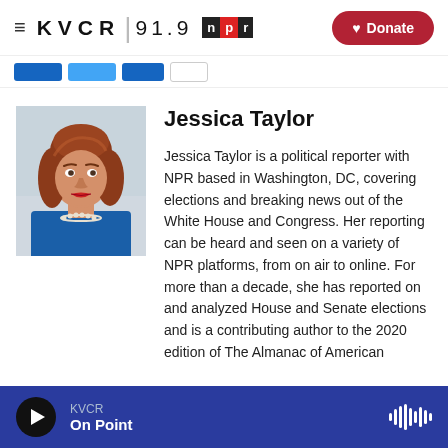KVCR 91.9 NPR | Donate
[Figure (screenshot): Navigation tab strip with colored tabs]
[Figure (photo): Headshot photo of Jessica Taylor, a woman with auburn hair wearing a blue top and pearl necklace]
Jessica Taylor
Jessica Taylor is a political reporter with NPR based in Washington, DC, covering elections and breaking news out of the White House and Congress. Her reporting can be heard and seen on a variety of NPR platforms, from on air to online. For more than a decade, she has reported on and analyzed House and Senate elections and is a contributing author to the 2020 edition of The Almanac of American
KVCR On Point